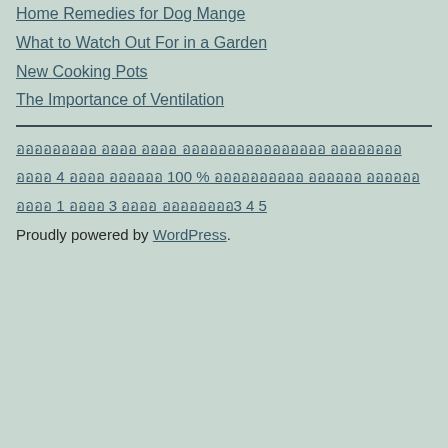Home Remedies for Dog Mange
What to Watch Out For in a Garden
New Cooking Pots
The Importance of Ventilation
อออออออออ ออออ ออออ ออออออออออออออออ ออออออออ
ออออ 4 ออออ ออออออ 100 % ออออออออออ ออออออ ออออออ
ออออ 1 ออออ 3 ออออ ออออออออ3 4 5
Proudly powered by WordPress.